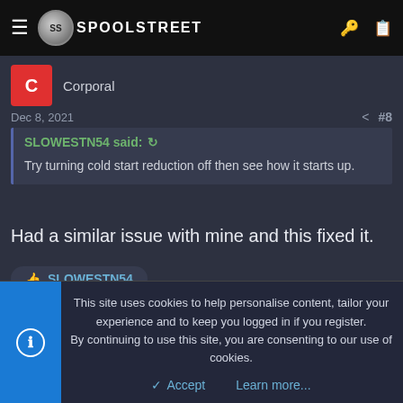SPOOLSTREET
Corporal
Dec 8, 2021  #8
SLOWESTN54 said: Try turning cold start reduction off then see how it starts up.
Had a similar issue with mine and this fixed it.
👍 SLOWESTN54
This site uses cookies to help personalise content, tailor your experience and to keep you logged in if you register. By continuing to use this site, you are consenting to our use of cookies.
Accept   Learn more...